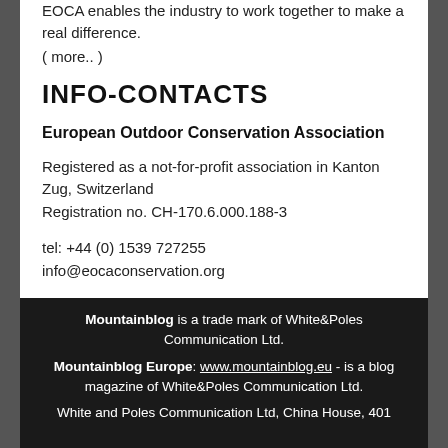EOCA enables the industry to work together to make a real difference.
( more.. )
INFO-CONTACTS
European Outdoor Conservation Association
Registered as a not-for-profit association in Kanton Zug, Switzerland
Registration no. CH-170.6.000.188-3
tel: +44 (0) 1539 727255
info@eocaconservation.org
www.eocaconservation.org
Mountainblog is a trade mark of White&Poles Communication Ltd.
Mountainblog Europe: www.mountainblog.eu - is a blog magazine of White&Poles Communication Ltd.
White and Poles Communication Ltd, China House, 401